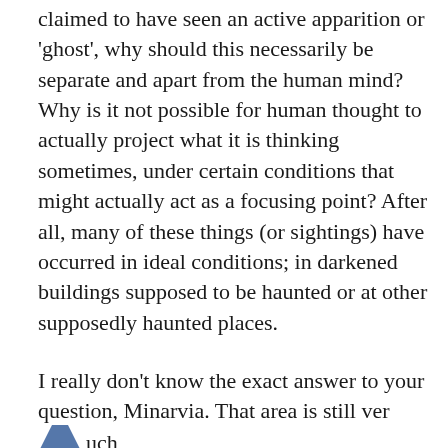claimed to have seen an active apparition or 'ghost', why should this necessarily be separate and apart from the human mind? Why is it not possible for human thought to actually project what it is thinking sometimes, under certain conditions that might actually act as a focusing point? After all, many of these things (or sightings) have occurred in ideal conditions; in darkened buildings supposed to be haunted or at other supposedly haunted places.
I really don't know the exact answer to your question, Minarvia. That area is still very much under investigation.
You also asked about the equipment we take to investigations